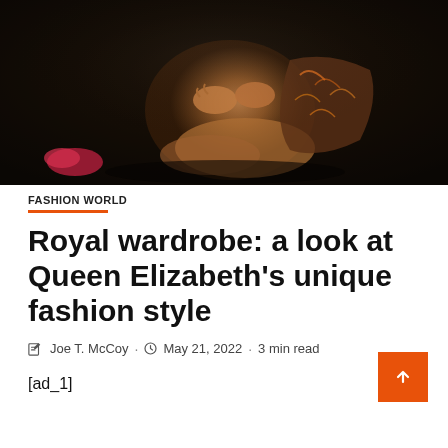[Figure (photo): Dark atmospheric photo of a person sitting on the floor wearing a floral/tropical print outfit, dark background, visible hands and legs]
FASHION WORLD
Royal wardrobe: a look at Queen Elizabeth's unique fashion style
Joe T. McCoy · May 21, 2022 · 3 min read
[ad_1]